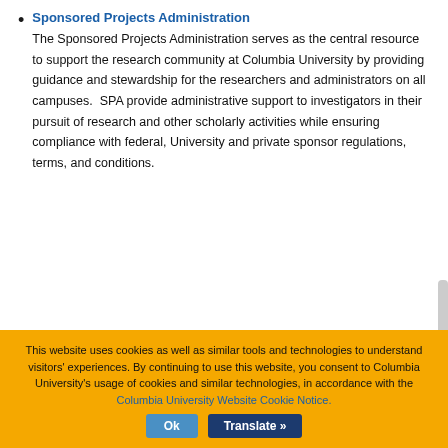Sponsored Projects Administration
The Sponsored Projects Administration serves as the central resource to support the research community at Columbia University by providing guidance and stewardship for the researchers and administrators on all campuses.  SPA provide administrative support to investigators in their pursuit of research and other scholarly activities while ensuring compliance with federal, University and private sponsor regulations, terms, and conditions.
This website uses cookies as well as similar tools and technologies to understand visitors' experiences. By continuing to use this website, you consent to Columbia University's usage of cookies and similar technologies, in accordance with the Columbia University Website Cookie Notice.